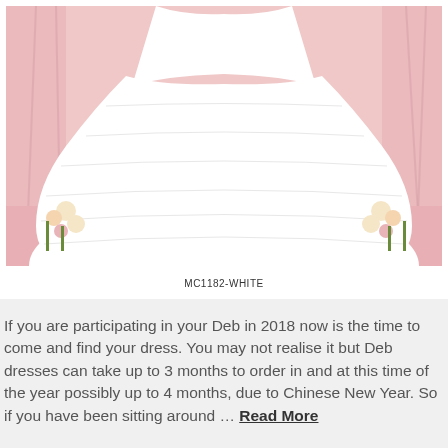[Figure (photo): A white ball gown / debutante dress with voluminous tulle skirt, shown from waist down on a pink background with flowers on either side]
MC1182-WHITE
If you are participating in your Deb in 2018 now is the time to come and find your dress. You may not realise it but Deb dresses can take up to 3 months to order in and at this time of the year possibly up to 4 months, due to Chinese New Year. So if you have been sitting around … Read More